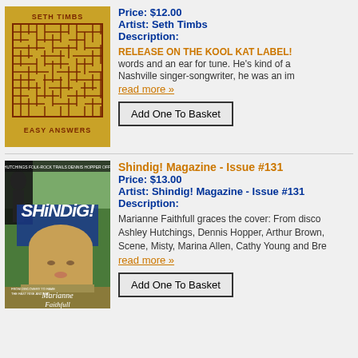[Figure (photo): Seth Timbs - Easy Answers album cover with maze pattern on golden/yellow background]
Price: $12.00
Artist: Seth Timbs
Description:
RELEASE ON THE KOOL KAT LABEL! words and an ear for tune. He's kind of a Nashville singer-songwriter, he was an im
read more »
Add One To Basket
Shindig! Magazine - Issue #131
Price: $13.00
Artist: Shindig! Magazine - Issue #131
Description:
Marianne Faithfull graces the cover: From disco Ashley Hutchings, Dennis Hopper, Arthur Brown, Scene, Misty, Marina Allen, Cathy Young and Bre
read more »
[Figure (photo): Shindig! Magazine Issue #131 cover featuring Marianne Faithfull]
Add One To Basket